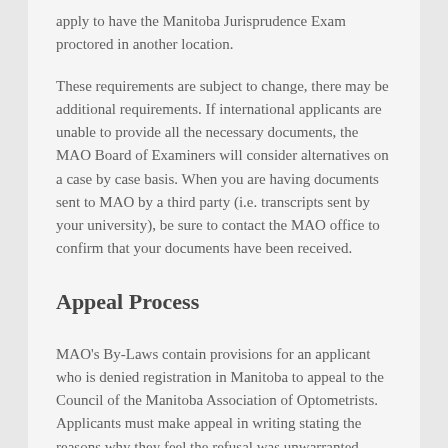apply to have the Manitoba Jurisprudence Exam proctored in another location.
These requirements are subject to change, there may be additional requirements. If international applicants are unable to provide all the necessary documents, the MAO Board of Examiners will consider alternatives on a case by case basis. When you are having documents sent to MAO by a third party (i.e. transcripts sent by your university), be sure to contact the MAO office to confirm that your documents have been received.
Appeal Process
MAO's By-Laws contain provisions for an applicant who is denied registration in Manitoba to appeal to the Council of the Manitoba Association of Optometrists. Applicants must make appeal in writing stating the reasons why they feel the refusal was unwarranted.
Provisions for appeal are also in place for the FORAC